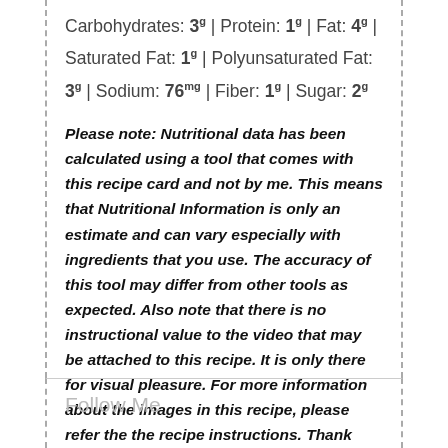Carbohydrates: 3g | Protein: 1g | Fat: 4g | Saturated Fat: 1g | Polyunsaturated Fat: 3g | Sodium: 76mg | Fiber: 1g | Sugar: 2g
Please note: Nutritional data has been calculated using a tool that comes with this recipe card and not by me. This means that Nutritional Information is only an estimate and can vary especially with ingredients that you use. The accuracy of this tool may differ from other tools as expected. Also note that there is no instructional value to the video that may be attached to this recipe. It is only there for visual pleasure. For more information about the images in this recipe, please refer the the recipe instructions. Thank you!
Follow Me